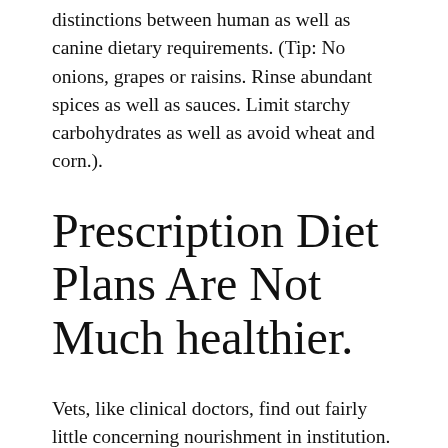distinctions between human as well as canine dietary requirements. (Tip: No onions, grapes or raisins. Rinse abundant spices as well as sauces. Limit starchy carbohydrates as well as avoid wheat and corn.).
Prescription Diet Plans Are Not Much healthier.
Vets, like clinical doctors, find out fairly little concerning nourishment in institution. Much of what they do learn comes directly from pet food firm veterinarians, sales representatives, write-